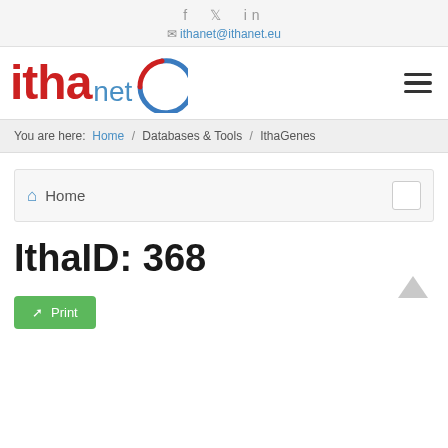f  twitter  in
✉ ithanet@ithanet.eu
[Figure (logo): Ithanet logo — 'itha' in red bold, 'net' in blue, with a blue/red partial circle arc graphic]
You are here: Home / Databases & Tools / IthaGenes
⌂ Home
IthaID: 368
Print